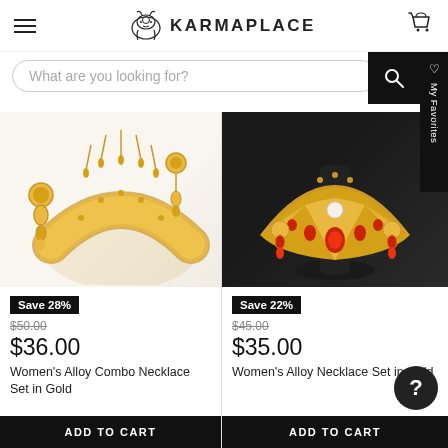[Figure (logo): KarmaPlace logo with elephant icon and text]
What are you looking for?
[Figure (photo): Women's gold alloy combo necklace set with earrings and maangtikka on white background]
Save 28%
$50.00
$36.00
Women's Alloy Combo Necklace Set in Gold
ADD TO CART
[Figure (photo): Women's gold alloy necklace set with red stones on black display stand]
Save 22%
$45.00
$35.00
Women's Alloy Necklace Set in Gold
ADD TO CART